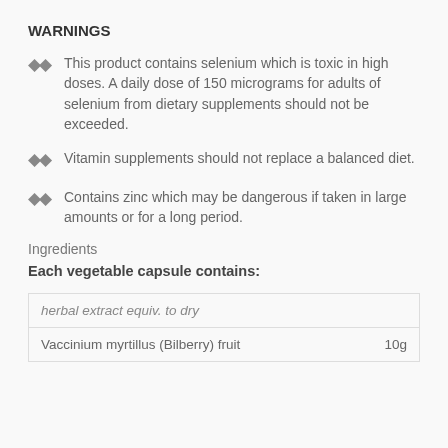WARNINGS
This product contains selenium which is toxic in high doses. A daily dose of 150 micrograms for adults of selenium from dietary supplements should not be exceeded.
Vitamin supplements should not replace a balanced diet.
Contains zinc which may be dangerous if taken in large amounts or for a long period.
Ingredients
Each vegetable capsule contains:
| herbal extract equiv. to dry |  |
| --- | --- |
| Vaccinium myrtillus (Bilberry) fruit | 10g |